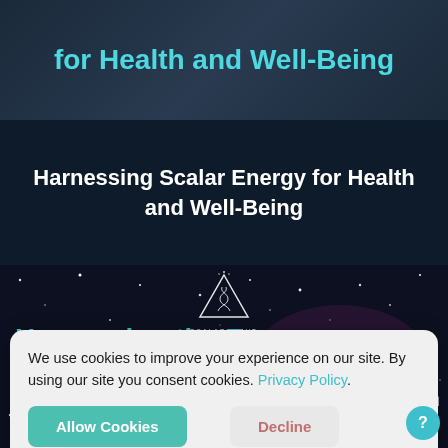for Health and Well-Being
Harnessing Scalar Energy for Health and Well-Being
[Figure (photo): Night sky / star field background with Scalar Light logo (triangle with DNA helix) in center and text 'SCALAR LIGHT']
Harnessing the Energy
We use cookies to improve your experience on our site. By using our site you consent cookies. Privacy Policy.
From The Sun
Allow Cookies
Decline